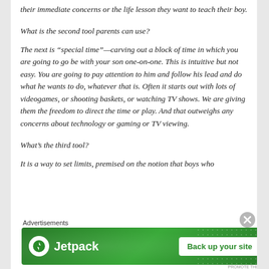their immediate concerns or the life lesson they want to teach their boy.
What is the second tool parents can use?
The next is “special time”—carving out a block of time in which you are going to go be with your son one-on-one. This is intuitive but not easy. You are going to pay attention to him and follow his lead and do what he wants to do, whatever that is. Often it starts out with lots of videogames, or shooting baskets, or watching TV shows. We are giving them the freedom to direct the time or play. And that outweighs any concerns about technology or gaming or TV viewing.
What’s the third tool?
It is a way to set limits, premised on the notion that boys who
Advertisements
[Figure (other): Jetpack advertisement banner with green background, Jetpack logo on left and 'Back up your site' button on right]